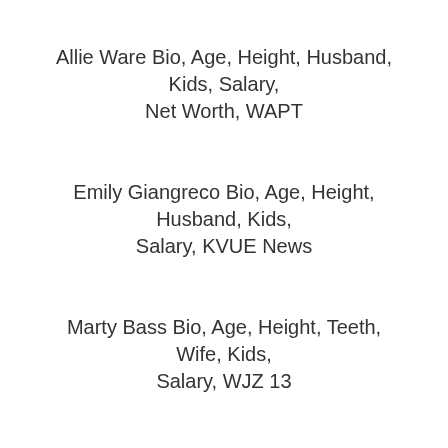Allie Ware Bio, Age, Height, Husband, Kids, Salary, Net Worth, WAPT
Emily Giangreco Bio, Age, Height, Husband, Kids, Salary, KVUE News
Marty Bass Bio, Age, Height, Teeth, Wife, Kids, Salary, WJZ 13
About The Author